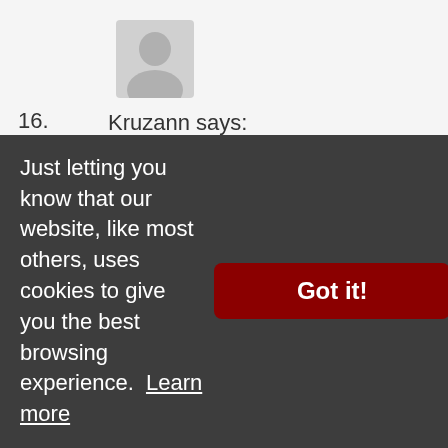[Figure (illustration): Gray placeholder avatar/person silhouette icon]
16.    Kruzann says:
June 14, 2012 at 5:45 pm
JB, I am a female Certified PT NASM and a Precision Nutrtion Trainer. I live in CA. I Pic Nutrtion certified through. I got shut down v because our head trainer is a firm believer dieting. She would not at all ndorse the ear
Just letting you know that our website, like most others, uses cookies to give you the best browsing experience.  Learn more